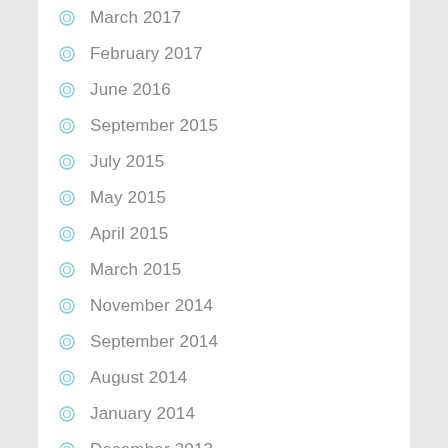March 2017
February 2017
June 2016
September 2015
July 2015
May 2015
April 2015
March 2015
November 2014
September 2014
August 2014
January 2014
December 2013
August 2013
May 2013
April 2013
March 2013